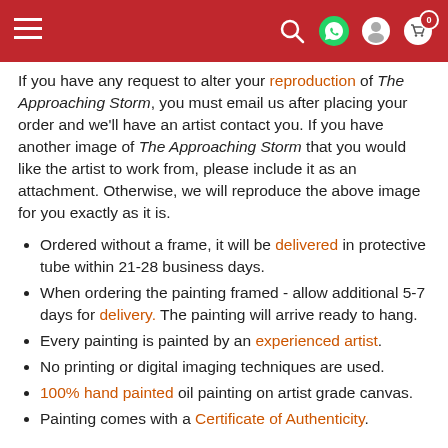Navigation bar with menu, search, WhatsApp, user, and cart icons
If you have any request to alter your reproduction of The Approaching Storm, you must email us after placing your order and we'll have an artist contact you. If you have another image of The Approaching Storm that you would like the artist to work from, please include it as an attachment. Otherwise, we will reproduce the above image for you exactly as it is.
Ordered without a frame, it will be delivered in protective tube within 21-28 business days.
When ordering the painting framed - allow additional 5-7 days for delivery. The painting will arrive ready to hang.
Every painting is painted by an experienced artist.
No printing or digital imaging techniques are used.
100% hand painted oil painting on artist grade canvas.
Painting comes with a Certificate of Authenticity.